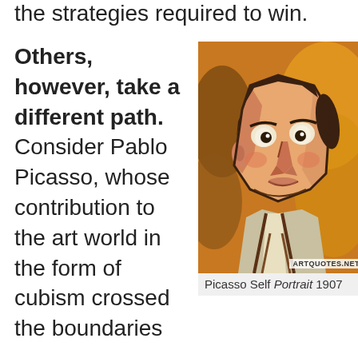the strategies required to win.
Others, however, take a different path. Consider Pablo Picasso, whose contribution to the art world in the form of cubism crossed the boundaries
[Figure (photo): Picasso Self Portrait 1907 painting showing a cubist-style face with bold outlines, brown hair, and orange/ochre background. Watermark: ARTQUOTES.NET]
Picasso Self Portrait 1907